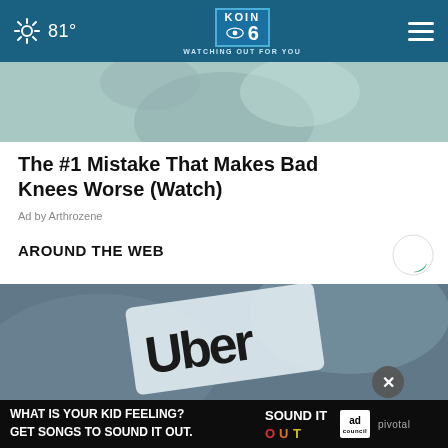81° KOIN 6 CBS WATCHING OUT FOR YOU
[Figure (photo): Partial view of article thumbnail image with teal/gray tones]
The #1 Mistake That Makes Bad Knees Worse (Watch)
Ad by Arthrozene
AROUND THE WEB
[Figure (logo): Taboola content recommendation logo - letter C in green and black]
[Figure (photo): Close-up photo of an Uber business card on a dark surface with an X close button]
[Figure (photo): Bottom advertisement banner: WHAT IS YOUR KID FEELING? GET SONGS TO SOUND IT OUT. Sound It Out ad council pivotal]